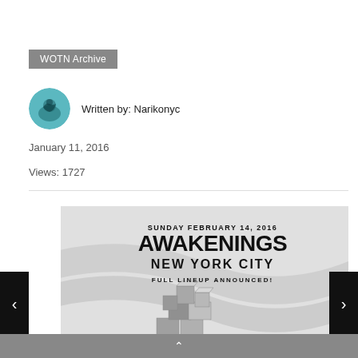WOTN Archive
Written by: Narikonyc
January 11, 2016
Views: 1727
[Figure (illustration): Event flyer for Awakenings New York City on Sunday February 14, 2016. Full Lineup Announced! Shows a 3D-rendered interlocking block structure on a grey wavy ribbon background.]